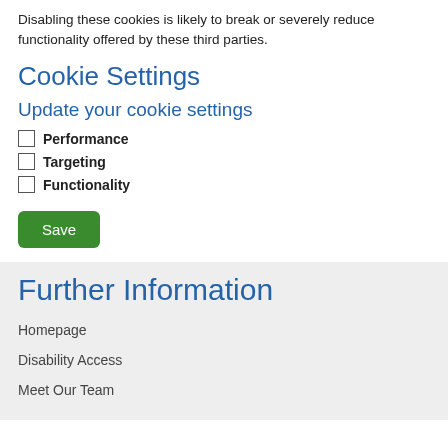Disabling these cookies is likely to break or severely reduce functionality offered by these third parties.
Cookie Settings
Update your cookie settings
Performance
Targeting
Functionality
[Figure (other): Save button (green rounded rectangle)]
Further Information
Homepage
Disability Access
Meet Our Team